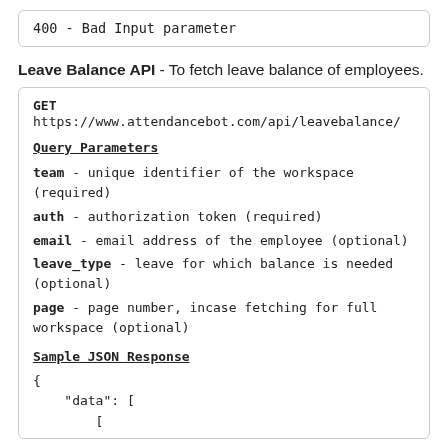400 - Bad Input parameter
Leave Balance API - To fetch leave balance of employees.
GET https://www.attendancebot.com/api/leavebalance/
Query Parameters
team - unique identifier of the workspace (required)
auth - authorization token (required)
email - email address of the employee (optional)
leave_type - leave for which balance is needed (optional)
page - page number, incase fetching for full workspace (optional)
Sample JSON Response
{
    "data": [
        [